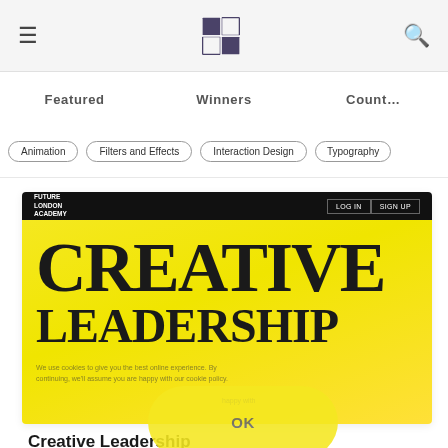≡  [logo]  🔍
Featured   Winners   Count…
Animation
Filters and Effects
Interaction Design
Typography
[Figure (screenshot): Screenshot of Future London Academy website showing 'Creative Leadership' hero section with large bold text on a yellow background, with a black navigation bar at the top showing LOG IN and SIGN UP buttons.]
Creative Leadership
UK